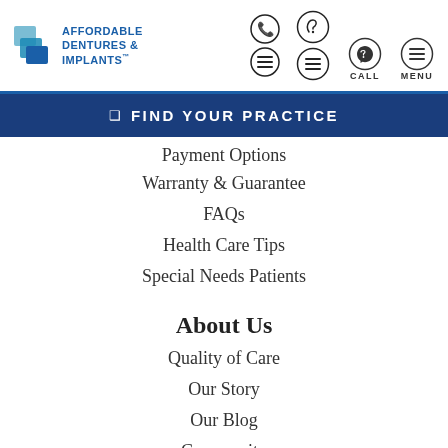Affordable Dentures & Implants
FIND YOUR PRACTICE
Payment Options
Warranty & Guarantee
FAQs
Health Care Tips
Special Needs Patients
About Us
Quality of Care
Our Story
Our Blog
Community
Careers
Affiliate Your Dental Practice